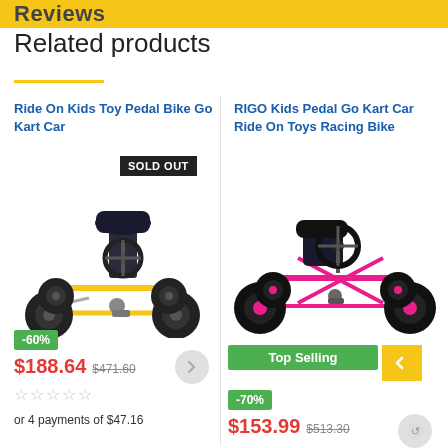Reviews
Related products
Ride On Kids Toy Pedal Bike Go Kart Car
[Figure (photo): Yellow go kart pedal car for kids with black seat, four large black wheels, and a SOLD OUT badge overlay]
-60%
$188.64  $471.60
or 4 payments of $47.16
RIGO Kids Pedal Go Kart Car Ride On Toys Racing Bike
[Figure (photo): Pink and black go kart pedal car for kids with four large black wheels and pink frame]
Top Selling
-70%
$153.99  $513.30